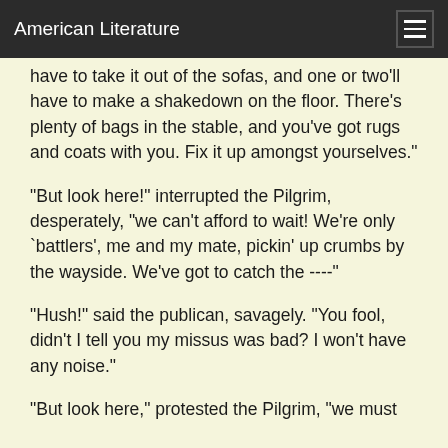American Literature
have to take it out of the sofas, and one or two'll have to make a shakedown on the floor. There's plenty of bags in the stable, and you've got rugs and coats with you. Fix it up amongst yourselves."
"But look here!" interrupted the Pilgrim, desperately, "we can't afford to wait! We're only `battlers', me and my mate, pickin' up crumbs by the wayside. We've got to catch the ----"
"Hush!" said the publican, savagely. "You fool, didn't I tell you my missus was bad? I won't have any noise."
"But look here," protested the Pilgrim, "we must